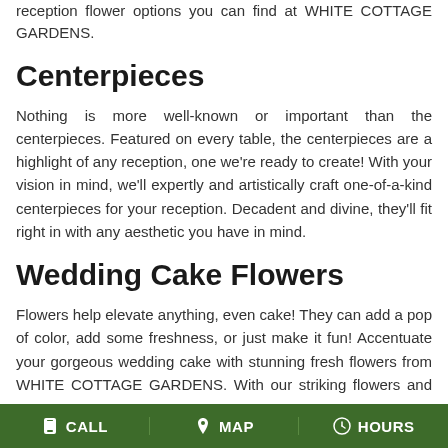reception flower options you can find at WHITE COTTAGE GARDENS.
Centerpieces
Nothing is more well-known or important than the centerpieces. Featured on every table, the centerpieces are a highlight of any reception, one we're ready to create! With your vision in mind, we'll expertly and artistically craft one-of-a-kind centerpieces for your reception. Decadent and divine, they'll fit right in with any aesthetic you have in mind.
Wedding Cake Flowers
Flowers help elevate anything, even cake! They can add a pop of color, add some freshness, or just make it fun! Accentuate your gorgeous wedding cake with stunning fresh flowers from WHITE COTTAGE GARDENS. With our striking flowers and your
CALL   MAP   HOURS